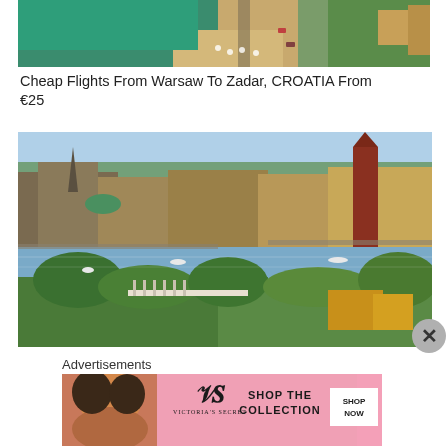[Figure (photo): Aerial view of a beach coastline with green water, sandy shore with white umbrellas, and roads visible from above — partially cropped at top]
Cheap Flights From Warsaw To Zadar, CROATIA From €25
[Figure (photo): Aerial cityscape of Stockholm, Sweden showing the old town Gamla Stan with historic buildings, waterways, bridges, and green islands with trees]
Advertisements
[Figure (photo): Victoria's Secret advertisement banner with a model on the left, the VS logo, and text 'SHOP THE COLLECTION' with a pink 'SHOP NOW' button]